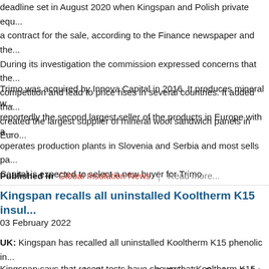deadline set in August 2020 when Kingspan and Polish private equity signed a contract for the sale, according to the Finance newspaper and the commission. During its investigation the commission expressed concerns that the deal would hit competition and lead to price rises in several countries. It added that the deal created the largest supplier of mineral wool sandwich panels in Europe.
Trimo was acquired by Innova Capital in 2016. It produces mineral wool and is reportedly the second largest seller of the products in Europe with a... operates production plants in Slovenia and Serbia and most sells pa... Capital is expected to select a new buyer for Trimo.
Published in  Global Insulation News  |  Read more...
Kingspan recalls all uninstalled Kooltherm K15 insul...
03 February 2022
UK: Kingspan has recalled all uninstalled Kooltherm K15 phenolic in... pursuant to an order by the government's Office for Product Safety a... estimates the value of the affected stock to be Euro180,000. InsideH... that the company hopes to resume its sale of Kooltherm K15 insulat... on 23 December 2021.
Kingspan says that recent tests have shown that Kooltherm K15 ins...